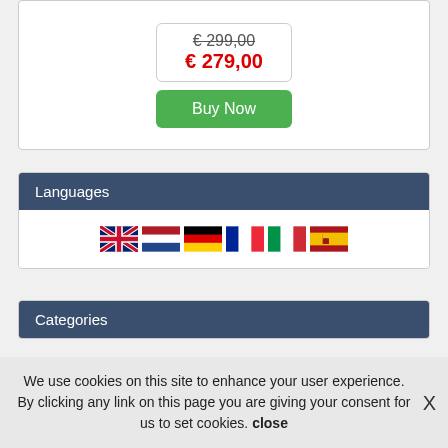€ 299,00 (strikethrough), € 279,00 (sale price)
[Figure (other): Buy Now button (green)]
Languages
[Figure (illustration): Row of country flags: UK, Netherlands, Germany, France, Italy, Spain]
Categories
We use cookies on this site to enhance your user experience. By clicking any link on this page you are giving your consent for us to set cookies. close